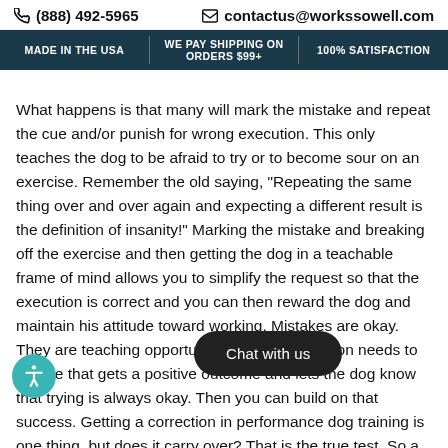(888) 492-5965 | contactus@workssowell.com | MADE IN THE USA | WE PAY SHIPPING ON ORDERS $99+ | 100% SATISFACTION
What happens is that many will mark the mistake and repeat the cue and/or punish for wrong execution. This only teaches the dog to be afraid to try or to become sour on an exercise. Remember the old saying, "Repeating the same thing over and over again and expecting a different result is the definition of insanity!" Marking the mistake and breaking off the exercise and then getting the dog in a teachable frame of mind allows you to simplify the request so that the execution is correct and you can then reward the dog and maintain his attitude toward working. Mistakes are okay. They are teaching opportunities, and our reaction needs to be one that gets a positive outcome and lets the dog know that trying is always okay. Then you can build on that success. Getting a correction in performance dog training is one thing, but does it carry over? That is the true test. So a correction should be one that doesn't crush attitude but conveys to the dog that a mistake has been made. Then a solution can be presented to the dog